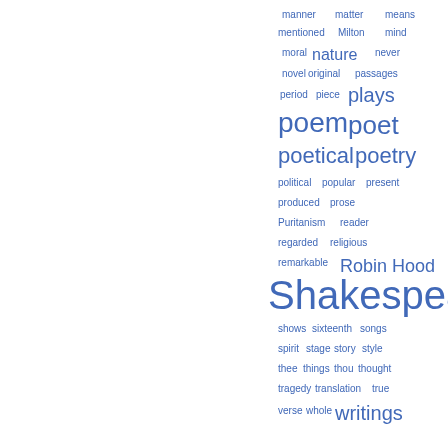[Figure (other): A word cloud (tag cloud) showing literary and literary-criticism related terms in varying font sizes, all in blue, positioned on the right half of the page. Larger words indicate higher frequency/importance: Shakespeare (largest), poem, poet, poetry, poetical, plays, writings, Robin Hood are notably large. Smaller words include manner, matter, means, mentioned, Milton, mind, moral, nature, never, novel, original, passages, period, piece, political, popular, present, produced, prose, Puritanism, reader, regarded, religious, remarkable, shows, sixteenth, songs, spirit, stage, story, style, thee, things, thou, thought, tragedy, translation, true, verse, whole.]